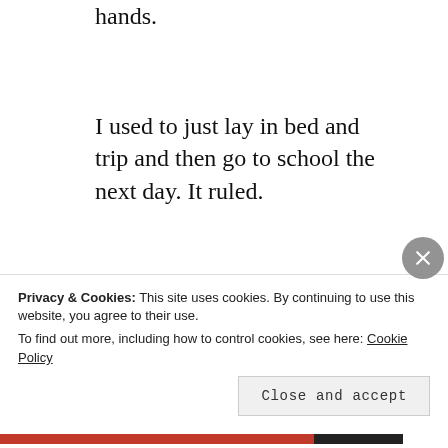hands.
I used to just lay in bed and trip and then go to school the next day. It ruled.
A mustachioed newsman of the celebrated type they just don’t make anymore pops on and says “Fighting the frizzies, at 11.”
I have no clue what that means
Privacy & Cookies: This site uses cookies. By continuing to use this website, you agree to their use.
To find out more, including how to control cookies, see here: Cookie Policy
Close and accept